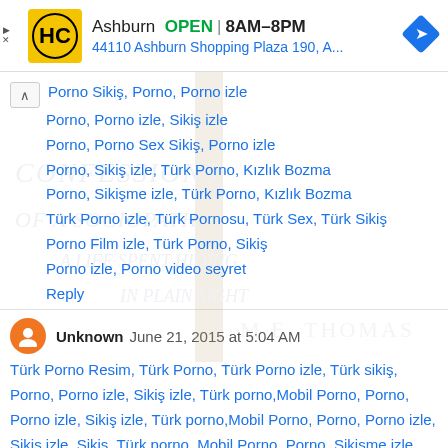[Figure (screenshot): Advertisement banner for HC (Harvest Center) store in Ashburn, showing logo, OPEN status, hours 8AM-8PM, address 44110 Ashburn Shopping Plaza 190, A..., and navigation arrow icon]
Porno Sikiş, Porno, Porno izle
Porno, Porno izle, Sikiş izle
Porno, Porno Sex Sikiş, Porno izle
Porno, Sikiş izle, Türk Porno, Kızlık Bozma
Porno, Sikişme izle, Türk Porno, Kızlık Bozma
Türk Porno izle, Türk Pornosu, Türk Sex, Türk Sikiş
Porno Film izle, Türk Porno, Sikiş
Porno izle, Porno video seyret
Reply
[Figure (photo): Book cover watermark: Confessions of a Sociopath: A Life Spent Hiding in Plain Sight by M.E. Thomas]
Unknown  June 21, 2015 at 5:04 AM
Türk Porno Resim, Türk Porno, Türk Porno izle, Türk sikiş, Porno, Porno izle, Sikiş izle, Türk porno,Mobil Porno, Porno, Porno izle, Sikiş izle, Türk porno,Mobil Porno, Porno, Porno izle, Sikiş izle, Sikiş, Türk porno, Mobil Porno, Porno, Sikisme izle, Türk Porno, Kızlık Bozma, Porno